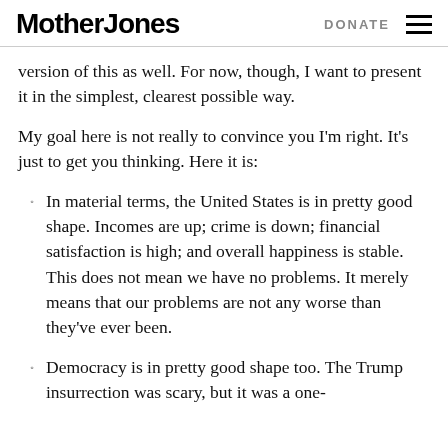Mother Jones | DONATE
version of this as well. For now, though, I want to present it in the simplest, clearest possible way.
My goal here is not really to convince you I'm right. It's just to get you thinking. Here it is:
In material terms, the United States is in pretty good shape. Incomes are up; crime is down; financial satisfaction is high; and overall happiness is stable. This does not mean we have no problems. It merely means that our problems are not any worse than they've ever been.
Democracy is in pretty good shape too. The Trump insurrection was scary, but it was a one-